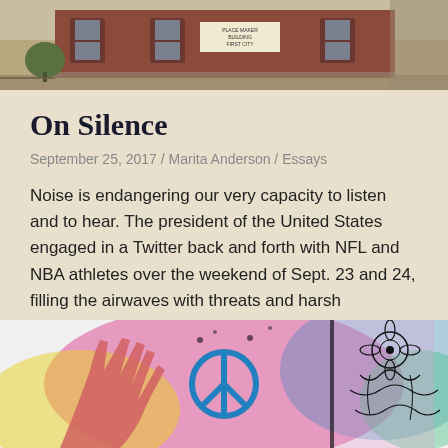[Figure (photo): Exterior photo of a brick building, appears to be a church or civic building with a sign visible]
On Silence
September 25, 2017 / Marita Anderson / Essays
Noise is endangering our very capacity to listen and to hear. The president of the United States engaged in a Twitter back and forth with NFL and NBA athletes over the weekend of Sept. 23 and 24, filling the airwaves with threats and harsh judgments
READ MORE
[Figure (illustration): Colorful watercolor and line art illustration showing a hand and decorative floral/peace symbol motifs in pink, yellow, blue and green]